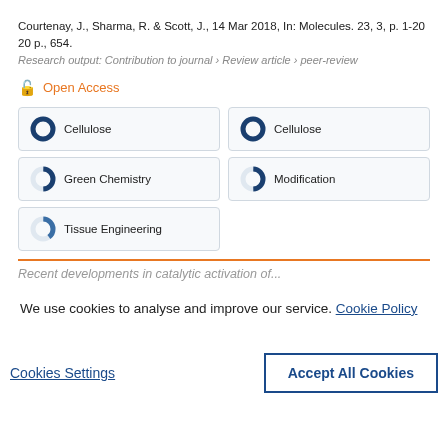Courtenay, J., Sharma, R. & Scott, J., 14 Mar 2018, In: Molecules. 23, 3, p. 1-20 20 p., 654.
Research output: Contribution to journal › Review article › peer-review
Open Access
Cellulose
Cellulose
Green Chemistry
Modification
Tissue Engineering
Recent developments in catalytic activation of...
We use cookies to analyse and improve our service. Cookie Policy
Cookies Settings
Accept All Cookies